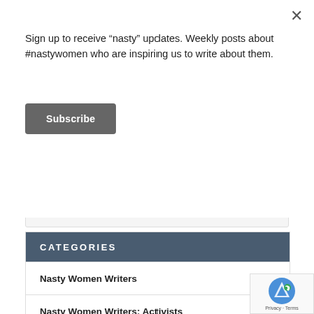Sign up to receive “nasty” updates. Weekly posts about #nastywomen who are inspiring us to write about them.
Subscribe
CATEGORIES
Nasty Women Writers
Nasty Women Writers: Activists
Nasty Women Writers: Artists
Nasty Women Writers: Breaking the Bronze Ceiling – Statues of Real Women in Public Spa